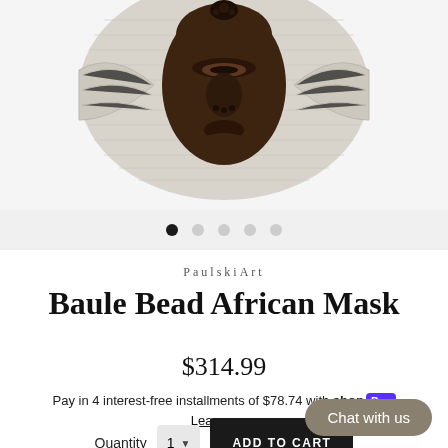[Figure (photo): Product photo of a Baule Bead African Mask, showing a dark wooden carved face with a light grey woven/knit textile surround, viewed from above/front angle.]
PaulskiArt
Baule Bead African Mask
$314.99
Pay in 4 interest-free installments of $78.74 with shop Pay
Learn more
Quantity  1 ▼  ADD TO CART
Chat with us